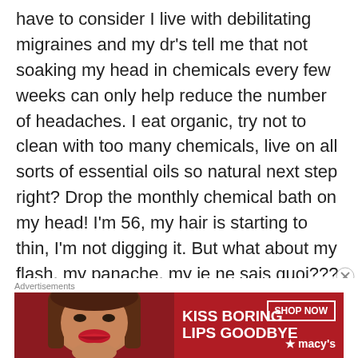have to consider I live with debilitating migraines and my dr's tell me that not soaking my head in chemicals every few weeks can only help reduce the number of headaches. I eat organic, try not to clean with too many chemicals, live on all sorts of essential oils so natural next step right? Drop the monthly chemical bath on my head! I'm 56, my hair is starting to thin, I'm not digging it. But what about my flash, my panache, my je ne sais quoi??? I discovered a conditioner that deposits a temporary color , makes
Advertisements
[Figure (photo): Macy's advertisement banner with red background showing a woman's face with red lipstick, text 'KISS BORING LIPS GOODBYE', 'SHOP NOW' button, and Macy's star logo]